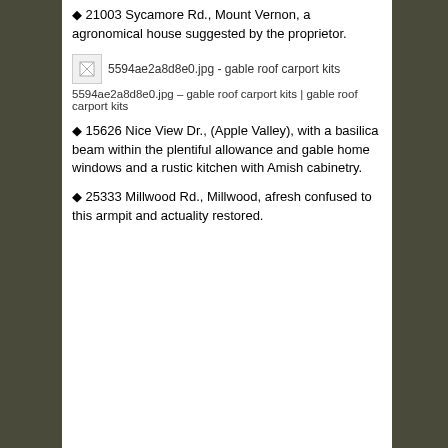◆ 21003 Sycamore Rd., Mount Vernon, a agronomical house suggested by the proprietor.
[Figure (photo): Broken image placeholder for 5594ae2a8d8e0.jpg - gable roof carport kits]
5594ae2a8d8e0.jpg – gable roof carport kits | gable roof carport kits
◆ 15626 Nice View Dr., (Apple Valley), with a basilica beam within the plentiful allowance and gable home windows and a rustic kitchen with Amish cabinetry.
◆ 25333 Millwood Rd., Millwood, afresh confused to this armpit and actuality restored.